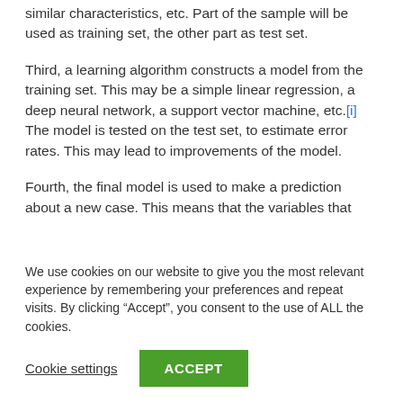additions, performance of accepted candidates with similar characteristics, etc. Part of the sample will be used as training set, the other part as test set.
Third, a learning algorithm constructs a model from the training set. This may be a simple linear regression, a deep neural network, a support vector machine, etc.[i] The model is tested on the test set, to estimate error rates. This may lead to improvements of the model.
Fourth, the final model is used to make a prediction about a new case. This means that the variables that
We use cookies on our website to give you the most relevant experience by remembering your preferences and repeat visits. By clicking “Accept”, you consent to the use of ALL the cookies.
Cookie settings | ACCEPT